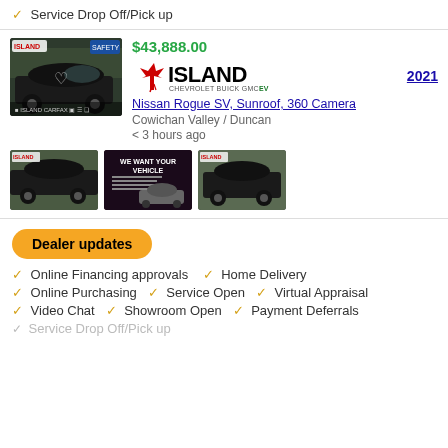✓ Service Drop Off/Pick up
$43,888.00
[Figure (logo): Island Chevrolet Buick GMC EV dealer logo with red maple leaf]
2021
[Figure (photo): Black Nissan Rogue SUV front view thumbnail]
Nissan Rogue SV, Sunroof, 360 Camera
Cowichan Valley / Duncan
< 3 hours ago
[Figure (photo): Black Nissan Rogue side view small thumbnail]
[Figure (photo): We Want Your Vehicle promotional image thumbnail]
[Figure (photo): Black Nissan Rogue rear three-quarter view small thumbnail]
Dealer updates
✓ Online Financing approvals  ✓ Home Delivery
✓ Online Purchasing  ✓ Service Open  ✓ Virtual Appraisal
✓ Video Chat  ✓ Showroom Open  ✓ Payment Deferrals
✓ Service Drop Off/Pick up